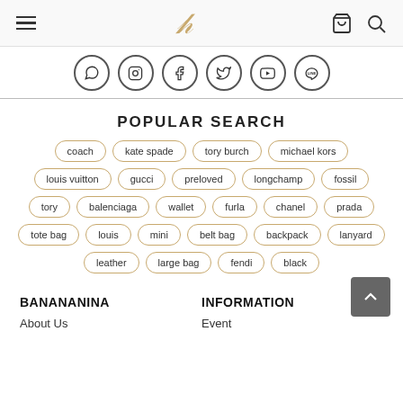Banananina site header with hamburger menu, logo, cart and search icons
[Figure (other): Row of 6 social media icon circles: WhatsApp, Instagram, Facebook, Twitter, YouTube, LINE]
POPULAR SEARCH
coach
kate spade
tory burch
michael kors
louis vuitton
gucci
preloved
longchamp
fossil
tory
balenciaga
wallet
furla
chanel
prada
tote bag
louis
mini
belt bag
backpack
lanyard
leather
large bag
fendi
black
BANANANINA
INFORMATION
About Us
Event